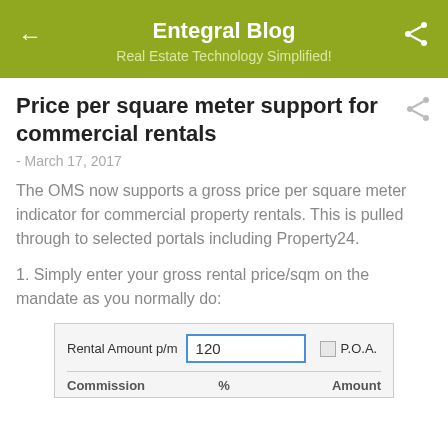Entegral Blog
Real Estate Technology Simplified!
Price per square meter support for commercial rentals
- March 17, 2017
The OMS now supports a gross price per square meter indicator for commercial property rentals. This is pulled through to selected portals including Property24.
1. Simply enter your gross rental price/sqm on the mandate as you normally do:
[Figure (screenshot): Form screenshot showing a Rental Amount p/m field with value 120 entered, a P.O.A. checkbox, and column headers for Commission, %, and Amount]